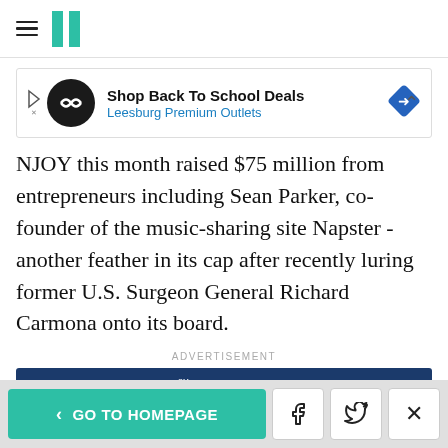HuffPost navigation header
[Figure (screenshot): Advertisement banner: Shop Back To School Deals - Leesburg Premium Outlets]
NJOY this month raised $75 million from entrepreneurs including Sean Parker, co-founder of the music-sharing site Napster - another feather in its cap after recently luring former U.S. Surgeon General Richard Carmona onto its board.
ADVERTISEMENT
[Figure (screenshot): Citi Custom Cash Card advertisement: 5% cash back on your top eligible spend category up to $500 spent each billing cycle, 1% thereafter. Learn More button.]
< GO TO HOMEPAGE  [Facebook] [Twitter] [X]